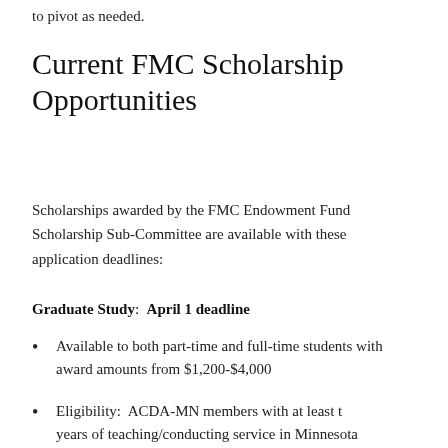to pivot as needed.
Current FMC Scholarship Opportunities
Scholarships awarded by the FMC Endowment Fund Scholarship Sub-Committee are available with these application deadlines:
Graduate Study:  April 1 deadline
Available to both part-time and full-time students with award amounts from $1,200-$4,000
Eligibility:  ACDA-MN members with at least t… years of teaching/conducting service in Minnesota